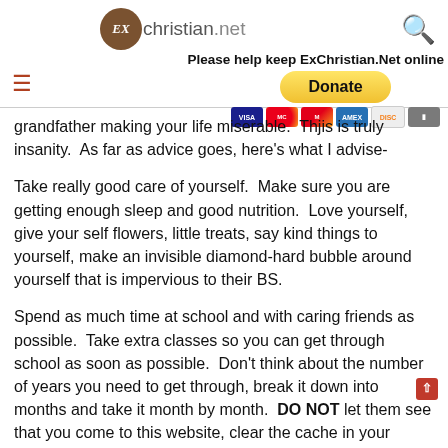ExChristian.net | Please help keep ExChristian.Net online | Donate | Visa, Mastercard, Maestro, Amex, Discover, Unknown card
grandfather making your life miserable.  Thjis is truly insanity.  As far as advice goes, here's what I advise-
Take really good care of yourself.  Make sure you are getting enough sleep and good nutrition.  Love yourself, give your self flowers, little treats, say kind things to yourself, make an invisible diamond-hard bubble around yourself that is impervious to their BS.
Spend as much time at school and with caring friends as possible.  Take extra classes so you can get through school as soon as possible.  Don't think about the number of years you need to get through, break it down into months and take it month by month.  DO NOT let them see that you come to this website, clear the cache in your computer that keeps that inf
If you need to access this site from the school library